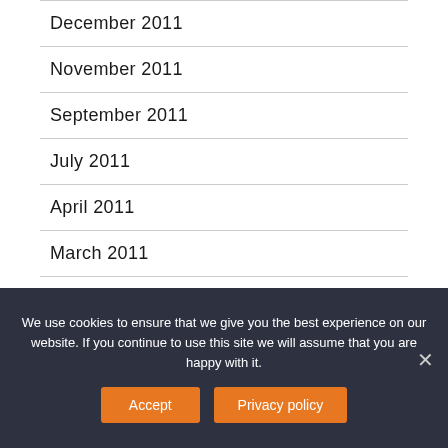December 2011
November 2011
September 2011
July 2011
April 2011
March 2011
February 2011
We use cookies to ensure that we give you the best experience on our website. If you continue to use this site we will assume that you are happy with it.
Accept   Privacy policy